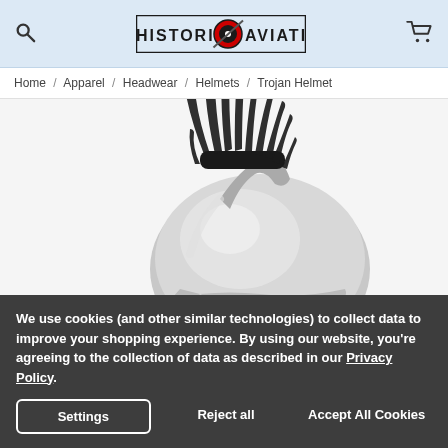Historic Aviation - Search | Logo | Cart
Home / Apparel / Headwear / Helmets / Trojan Helmet
[Figure (photo): Close-up of a shiny silver Trojan/Roman-style helmet with a black horsehair plume crest, photographed against a white background.]
We use cookies (and other similar technologies) to collect data to improve your shopping experience. By using our website, you're agreeing to the collection of data as described in our Privacy Policy.
Settings | Reject all | Accept All Cookies